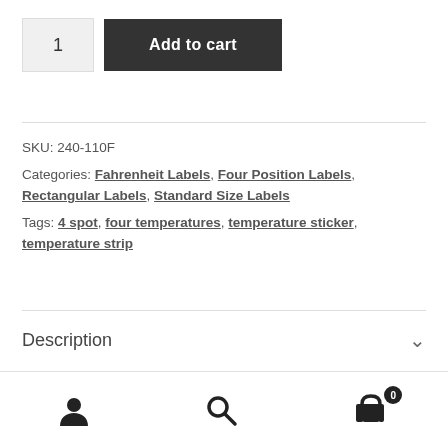1  Add to cart
SKU: 240-110F
Categories: Fahrenheit Labels, Four Position Labels, Rectangular Labels, Standard Size Labels
Tags: 4 spot, four temperatures, temperature sticker, temperature strip
Description
user icon | search icon | cart icon (0)